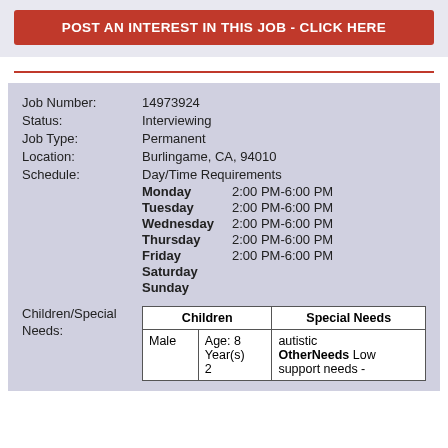POST AN INTEREST IN THIS JOB - CLICK HERE
| Job Number: | 14973924 |
| --- | --- |
| Status: | Interviewing |
| Job Type: | Permanent |
| Location: | Burlingame, CA, 94010 |
| Schedule: | Day/Time Requirements
Monday 2:00 PM-6:00 PM
Tuesday 2:00 PM-6:00 PM
Wednesday 2:00 PM-6:00 PM
Thursday 2:00 PM-6:00 PM
Friday 2:00 PM-6:00 PM
Saturday
Sunday |
| Children | Special Needs |
| --- | --- |
| Male | Age: 8 Year(s) 2 | autistic OtherNeeds Low support needs - |